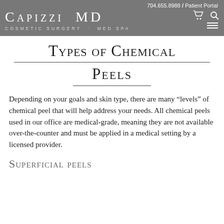704.655.8988 / Patient Portal — Capizzi MD Cosmetic Surgery · Med Spa
Types of Chemical Peels
Depending on your goals and skin type, there are many “levels” of chemical peel that will help address your needs. All chemical peels used in our office are medical-grade, meaning they are not available over-the-counter and must be applied in a medical setting by a licensed provider.
Superficial peels